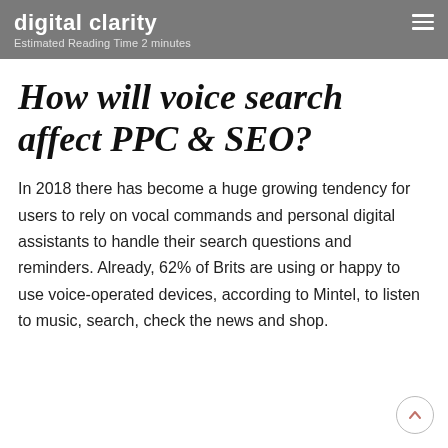digital clarity
Estimated Reading Time 2 minutes
How will voice search affect PPC & SEO?
In 2018 there has become a huge growing tendency for users to rely on vocal commands and personal digital assistants to handle their search questions and reminders. Already, 62% of Brits are using or happy to use voice-operated devices, according to Mintel, to listen to music, search, check the news and shop.